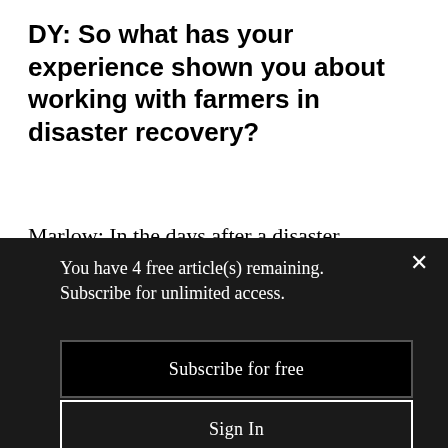DY: So what has your experience shown you about working with farmers in disaster recovery?
Marlow: In the days after a disaster, whether a farmer is able to keep their farm or lose their farm is often dependent on them navigating very complex and separate state
You have 4 free article(s) remaining. Subscribe for unlimited access.
Subscribe for free
Sign In